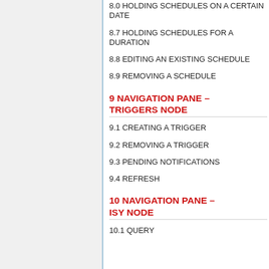8.0 HOLDING SCHEDULES ON A CERTAIN DATE
8.7 HOLDING SCHEDULES FOR A DURATION
8.8 EDITING AN EXISTING SCHEDULE
8.9 REMOVING A SCHEDULE
9 NAVIGATION PANE – TRIGGERS NODE
9.1 CREATING A TRIGGER
9.2 REMOVING A TRIGGER
9.3 PENDING NOTIFICATIONS
9.4 REFRESH
10 NAVIGATION PANE – ISY NODE
10.1 QUERY